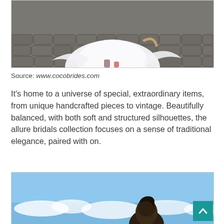[Figure (photo): Overhead/close-up view of a woman in a white flowing wedding dress standing on a cobblestone pavement, holding the dress hem.]
Source: www.cocobrides.com
It's home to a universe of special, extraordinary items, from unique handcrafted pieces to vintage. Beautifully balanced, with both soft and structured silhouettes, the allure bridals collection focuses on a sense of traditional elegance, paired with on.
[Figure (photo): A person (likely a bride or model) photographed from below against a blue sky with clouds.]